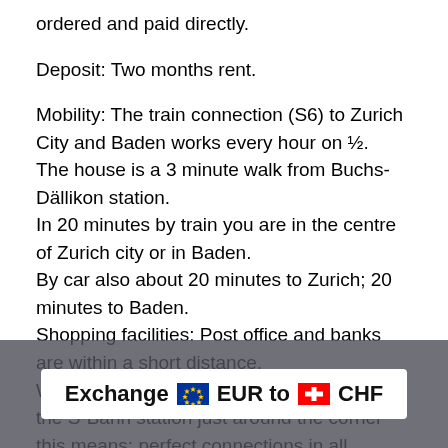ordered and paid directly.
Deposit: Two months rent.
Mobility: The train connection (S6) to Zurich City and Baden works every hour on ½.
The house is a 3 minute walk from Buchs-Dällikon station.
In 20 minutes by train you are in the centre of Zurich city or in Baden.
By car also about 20 minutes to Zurich; 20 minutes to Baden.
Shopping facilities: Post office and banks are within a short distance.
With the bus almost in front of the door and the S-Bahn station just around the corner this means: perfect connections in all directions.
Location: The surrounding area is very quiet and well mainta...
Parking...                                                    ...d if
[Figure (infographic): Exchange rate banner: Exchange EUR to CHF with EU flag and Swiss flag icons]